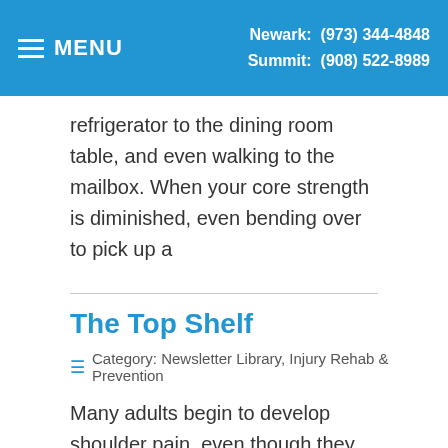MENU | Newark: (973) 344-4848 | Summit: (908) 522-8989
refrigerator to the dining room table, and even walking to the mailbox. When your core strength is diminished, even bending over to pick up a
The Top Shelf
Category: Newsletter Library, Injury Rehab & Prevention
Many adults begin to develop shoulder pain, even though they may not have sustained a specific injury. It's important to pay attention to such shoulder issues, as a healthy shoulder joint is the key to full